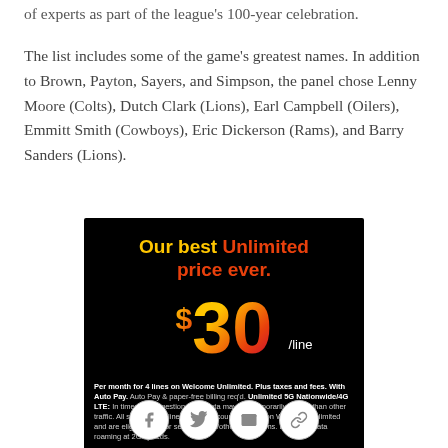of experts as part of the league's 100-year celebration.
The list includes some of the game's greatest names. In addition to Brown, Payton, Sayers, and Simpson, the panel chose Lenny Moore (Colts), Dutch Clark (Lions), Earl Campbell (Oilers), Emmitt Smith (Cowboys), Eric Dickerson (Rams), and Barry Sanders (Lions).
[Figure (infographic): Verizon advertisement on black background: 'Our best Unlimited price ever. $30/line'. Fine print about Welcome Unlimited plan, 4 lines, taxes, fees, Auto Pay, Unlimited 5G Nationwide/4G LTE conditions.]
[Figure (other): Social sharing icons: Facebook, Twitter, Email, Link]